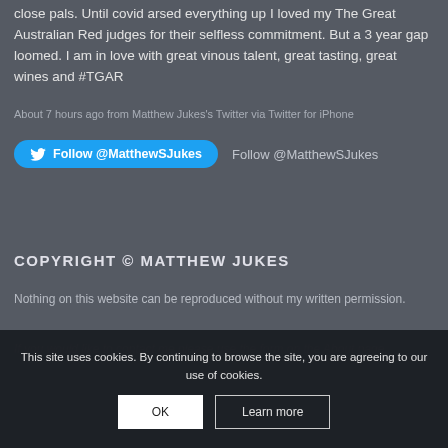close pals. Until covid arsed everything up I loved my The Great Australian Red judges for their selfless commitment. But a 3 year gap loomed. I am in love with great vinous talent, great tasting, great wines and #TGAR
About 7 hours ago from Matthew Jukes's Twitter via Twitter for iPhone
Follow @MatthewSJukes   Follow @MatthewSJukes
COPYRIGHT © MATTHEW JUKES
Nothing on this website can be reproduced without my written permission.
If you would like to contact me please use the form on the About page.
This site uses cookies. By continuing to browse the site, you are agreeing to our use of cookies.